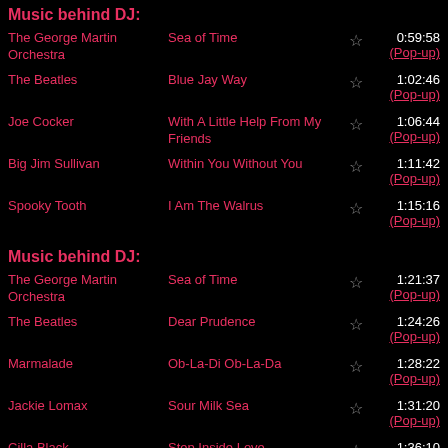Music behind DJ:
The George Martin Orchestra | Sea of Time | 0:59:58 (Pop-up)
The Beatles | Blue Jay Way | 1:02:46 (Pop-up)
Joe Cocker | With A Little Help From My Friends | 1:06:44 (Pop-up)
Big Jim Sullivan | Within You Without You | 1:11:42 (Pop-up)
Spooky Tooth | I Am The Walrus | 1:15:16 (Pop-up)
Music behind DJ:
The George Martin Orchestra | Sea of Time | 1:21:37 (Pop-up)
The Beatles | Dear Prudence | 1:24:26 (Pop-up)
Marmalade | Ob-La-Di Ob-La-Da | 1:28:22 (Pop-up)
Jackie Lomax | Sour Milk Sea | 1:31:20 (Pop-up)
Cilla Black | Step Inside Love | 1:36:10 (Pop-up)